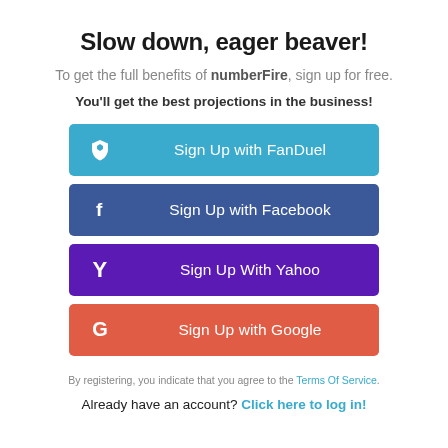Slow down, eager beaver!
To get the full benefits of numberFire, sign up for free.
You'll get the best projections in the business!
[Figure (screenshot): Sign Up with FanDuel button (blue)]
[Figure (screenshot): Sign Up with Facebook button (dark blue)]
[Figure (screenshot): Sign Up With Yahoo button (purple)]
[Figure (screenshot): Sign Up with Google button (red-orange)]
By registering, you indicate that you agree to the Terms Of Service.
Already have an account? Click here to log in!